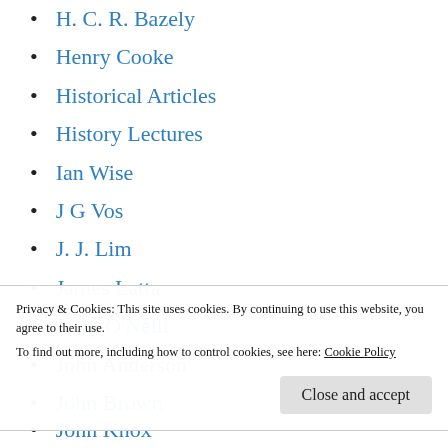H. C. R. Bazely
Henry Cooke
Historical Articles
History Lectures
Ian Wise
J G Vos
J. J. Lim
James Latta
Jerry O'Neill
John Anderson
John Brown
Privacy & Cookies: This site uses cookies. By continuing to use this website, you agree to their use.
To find out more, including how to control cookies, see here: Cookie Policy
John Knox